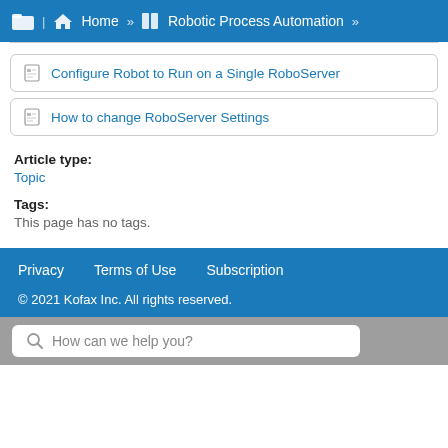Home » Robotic Process Automation »
Configure Robot to Run on a Single RoboServer
How to change RoboServer Settings
Article type:
Topic
Tags:
This page has no tags.
Privacy   Terms of Use   Subscription
© 2021 Kofax Inc. All rights reserved.
How can we help you?